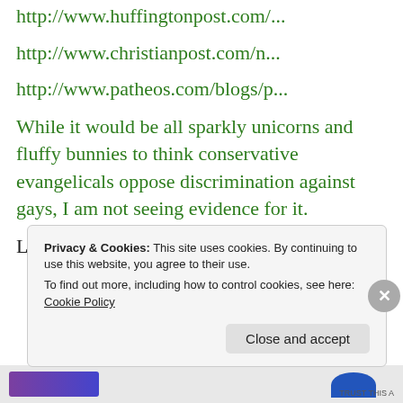http://www.huffingtonpost.com/...
http://www.christianpost.com/n...
http://www.patheos.com/blogs/p...
While it would be all sparkly unicorns and fluffy bunnies to think conservative evangelicals oppose discrimination against gays, I am not seeing evidence for it.
Lotharson
Privacy & Cookies: This site uses cookies. By continuing to use this website, you agree to their use.
To find out more, including how to control cookies, see here: Cookie Policy
Close and accept